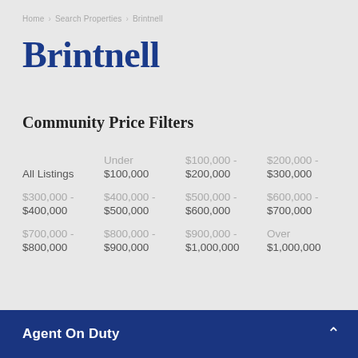Home › Search Properties › Brintnell
Brintnell
Community Price Filters
|  | Under | $100,000 - | $200,000 - |
| All Listings | $100,000 | $200,000 | $300,000 |
| $300,000 - | $400,000 - | $500,000 - | $600,000 - |
| $400,000 | $500,000 | $600,000 | $700,000 |
| $700,000 - | $800,000 - | $900,000 - | Over |
| $800,000 | $900,000 | $1,000,000 | $1,000,000 |
Agent On Duty